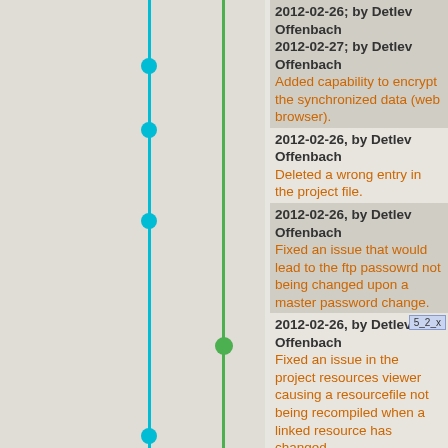2012-02-27; by Detlev Offenbach
2012-02-27; by Detlev Offenbach
Added capability to encrypt the synchronized data (web browser).
2012-02-26, by Detlev Offenbach
Deleted a wrong entry in the project file.
2012-02-26, by Detlev Offenbach
Fixed an issue that would lead to the ftp passowrd not being changed upon a master password change.
2012-02-26, by Detlev Offenbach
Fixed an issue in the project resources viewer causing a resourcefile not being recompiled when a linked resource has changed.
2012-02-26, by Detlev Offenbach
Fixed an issue in the project resources viewer causing a resourcefile not being recompiled when a linked resource has changed.
2012-02-26, by Detlev Offenbach
Corrected the version in the QtHelp files.
2012-02-26, by Detlev Offenbach
Renamed PyreAccessHandler to EricAccessHandler.
2012-02-25, by Detlev Offenbach
Fine tuned the label animations.
2012-02-25, by Detlev Offenbach
Exchanged the 'loading' icon.
2012-02-25, by Detlev Offenbach
Added default entries to the bookmark menu for the default home page and the speed dial page.
2012-02-25, by Detlev Offenbach
Added a Speed Dial to the web browser including the capability to select the first ten pages by pressing Meta+1 to Meta+0.